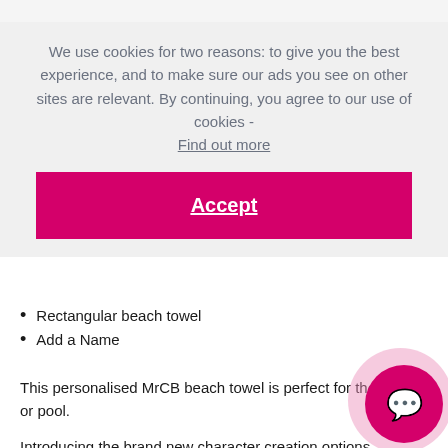We use cookies for two reasons: to give you the best experience, and to make sure our ads you see on other sites are relevant. By continuing, you agree to our use of cookies - Find out more
Accept
Rectangular beach towel
Add a Name
This personalised MrCB beach towel is perfect for the beach or pool.
Introducing the brand new character creation options